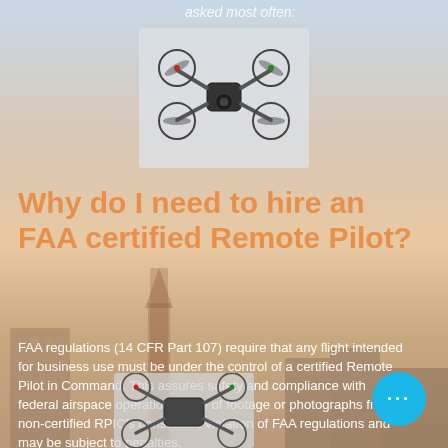asked most often:
[Figure (photo): Quadcopter drone photographed from below against a light background]
Why do I need to hire an FAA certified Remote Pilot?
FAA regulations (14 CFR Part 107) require that any flight intended for business use must be under the control of a certified Remote Pilot in Command. This assures safety and compliance with federal airspace operations. Use of footage or photographs from non-certified RPIC's constitutes violation of FAA regulations and may be subject to penalties.
[Figure (photo): Quadcopter drone partially visible at bottom of page]